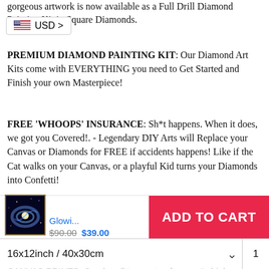gorgeous artwork is now available as a Full Drill Diamond Painting Kit in Square Diamonds.
[Figure (other): USD currency selector badge with US flag icon]
PREMIUM DIAMOND PAINTING KIT: Our Diamond Art Kits come with EVERYTHING you need to Get Started and Finish your own Masterpiece!
FREE 'WHOOPS' INSURANCE: Sh*t happens. When it does, we got you Covered!. - Legendary DIY Arts will Replace your Canvas or Diamonds for FREE if accidents happens! Like if the Cat walks on your Canvas, or a playful Kid turns your Diamonds into Confetti!
HAND-CODED CANVAS DESIGN: Our Kits are Carefully Designed to Retain the Most Details and Colors of the Original Artworks, to ensure that the Art when finished will look like the original.
[Figure (other): Product thumbnail showing galaxy/space artwork for diamond painting kit]
Glowi... $90.00 $39.00
ADD TO CART
16x12inch / 40x30cm
1